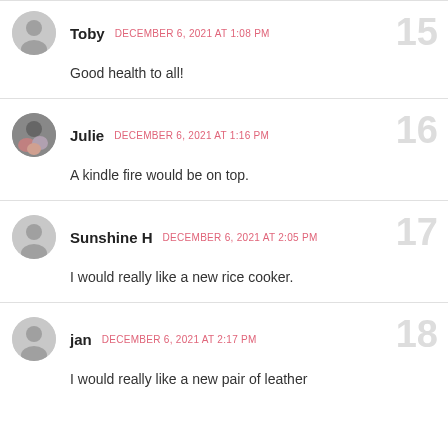Toby — DECEMBER 6, 2021 AT 1:08 PM — Good health to all! — comment 15
Julie — DECEMBER 6, 2021 AT 1:16 PM — A kindle fire would be on top. — comment 16
Sunshine H — DECEMBER 6, 2021 AT 2:05 PM — I would really like a new rice cooker. — comment 17
jan — DECEMBER 6, 2021 AT 2:17 PM — I would really like a new pair of leather — comment 18